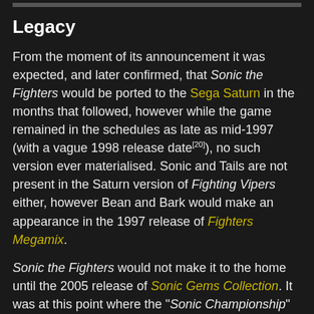Legacy
From the moment of its announcement it was expected, and later confirmed, that Sonic the Fighters would be ported to the Sega Saturn in the months that followed, however while the game remained in the schedules as late as mid-1997 (with a vague 1998 release date[20]), no such version ever materialised. Sonic and Tails are not present in the Saturn version of Fighting Vipers either, however Bean and Bark would make an appearance in the 1997 release of Fighters Megamix.
Sonic the Fighters would not make it to the home until the 2005 release of Sonic Gems Collection. It was at this point where the "Sonic Championship" name was dropped from international versions and has never been used since. Sonic the Fighters would then be brought to the PlayStation Network and Xbox Live Arcade as part of Model 2 Collection in 2012, with